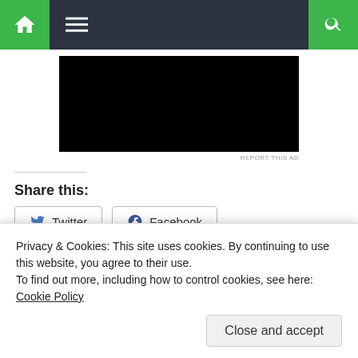Navigation bar with home, menu, and search icons
[Figure (screenshot): Black advertisement box with 'REPORT THIS AD' text below it]
Share this:
Twitter  Facebook
Like this:
Loading...
Health
Privacy & Cookies: This site uses cookies. By continuing to use this website, you agree to their use.
To find out more, including how to control cookies, see here: Cookie Policy
Close and accept